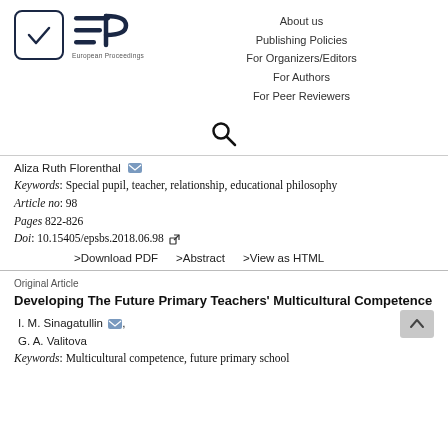[Figure (logo): European Proceedings logo with checkmark in rounded square and EP symbol with three horizontal lines]
About us
Publishing Policies
For Organizers/Editors
For Authors
For Peer Reviewers
[Figure (other): Search icon (magnifying glass)]
Aliza Ruth Florenthal
Keywords: Special pupil, teacher, relationship, educational philosophy
Article no: 98
Pages 822-826
Doi: 10.15405/epsbs.2018.06.98
>Download PDF    >Abstract    >View as HTML
Original Article
Developing The Future Primary Teachers' Multicultural Competence
I. M. Sinagatullin,
G. A. Valitova
Keywords: Multicultural competence, future primary school teachers, attitudes, knowledge, skills